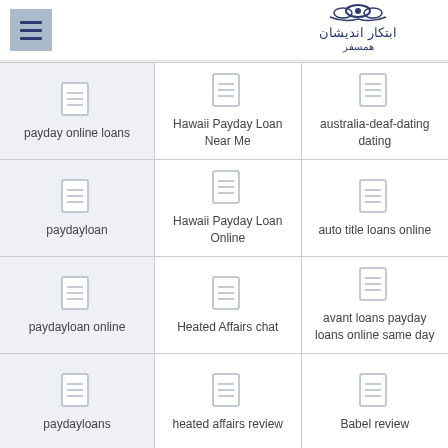[Figure (logo): Hamburger menu icon (three horizontal lines) in a blue-gray square]
[Figure (logo): Decorative logo with Arabic/Persian script text and ornamental design in dark blue]
payday online loans
Hawaii Payday Loan Near Me
australia-deaf-dating dating
paydayloan
Hawaii Payday Loan Online
auto title loans online
paydayloan online
Heated Affairs chat
avant loans payday loans online same day
paydayloans
heated affairs review
Babel review